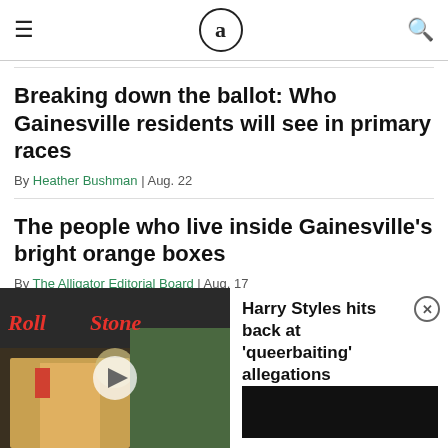≡  a  🔍
Breaking down the ballot: Who Gainesville residents will see in primary races
By Heather Bushman | Aug. 22
The people who live inside Gainesville's bright orange boxes
By The Alligator Editorial Board | Aug. 17
Joey Bada$$, Jean Deaux to perform at UF first
[Figure (screenshot): Rolling Stone magazine advertisement overlay with video player thumbnail showing a person in yellow jacket, Rolling Stone logo in red italic text, and a white play button circle in the center]
Harry Styles hits back at 'queerbaiting' allegations